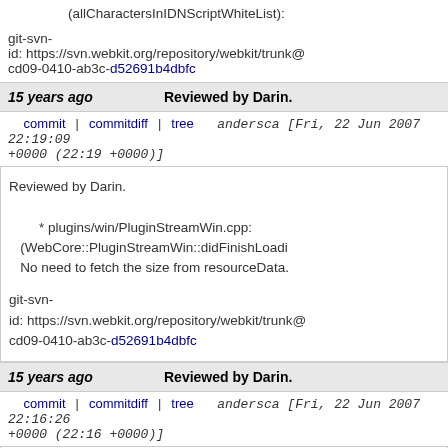(isSlashOrTildeZookalike): (allCharactersInIDNScriptWhiteList):
git-svn-id: https://svn.webkit.org/repository/webkit/trunk@ cd09-0410-ab3c-d52691b4dbfc
15 years ago   Reviewed by Darin.
commit | commitdiff | tree   andersca [Fri, 22 Jun 2007 22:19:09 +0000 (22:19 +0000)]
Reviewed by Darin.
* plugins/win/PluginStreamWin.cpp: (WebCore::PluginStreamWin::didFinishLoadi
No need to fetch the size from resourceData.
git-svn-id: https://svn.webkit.org/repository/webkit/trunk@ cd09-0410-ab3c-d52691b4dbfc
15 years ago   Reviewed by Darin.
commit | commitdiff | tree   andersca [Fri, 22 Jun 2007 22:16:26 +0000 (22:16 +0000)]
Reviewed by Darin.